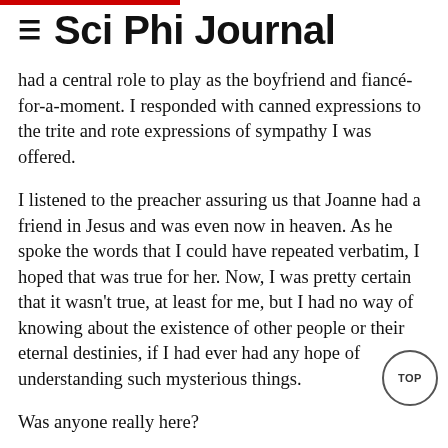≡  Sci Phi Journal
had a central role to play as the boyfriend and fiancé-for-a-moment. I responded with canned expressions to the trite and rote expressions of sympathy I was offered.
I listened to the preacher assuring us that Joanne had a friend in Jesus and was even now in heaven. As he spoke the words that I could have repeated verbatim, I hoped that was true for her. Now, I was pretty certain that it wasn't true, at least for me, but I had no way of knowing about the existence of other people or their eternal destinies, if I had ever had any hope of understanding such mysterious things.
Was anyone really here?
How would I know?